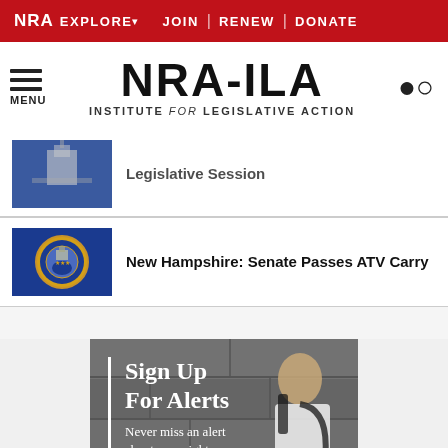NRA EXPLORE ▾  JOIN | RENEW | DONATE
[Figure (logo): NRA-ILA logo with tagline INSTITUTE for LEGISLATIVE ACTION and hamburger menu and search icon]
Legislative Session
New Hampshire: Senate Passes ATV Carry
[Figure (photo): Sign Up For Alerts banner - Never miss an alert about your rights - young man with backpack reading tablet against stone wall background]